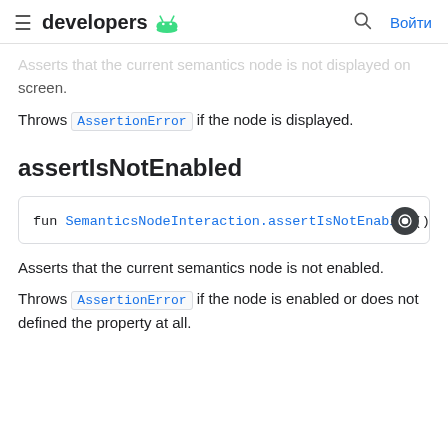developers
Asserts that the current semantics node is not displayed on screen.
Throws AssertionError if the node is displayed.
assertIsNotEnabled
fun SemanticsNodeInteraction.assertIsNotEnabled(): S
Asserts that the current semantics node is not enabled.
Throws AssertionError if the node is enabled or does not defined the property at all.